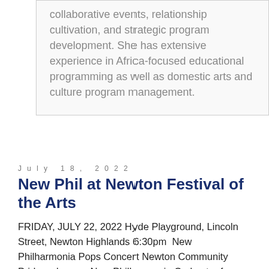collaborative events, relationship cultivation, and strategic program development. She has extensive experience in Africa-focused educational programming as well as domestic arts and culture program management.
July 18, 2022
New Phil at Newton Festival of the Arts
FRIDAY, JULY 22, 2022 Hyde Playground, Lincoln Street, Newton Highlands 6:30pm  New Philharmonia Pops Concert Newton Community Pride welcomes New Philharmonia Orchestra for a fun, patriotic Pops Concert! The diverse program is